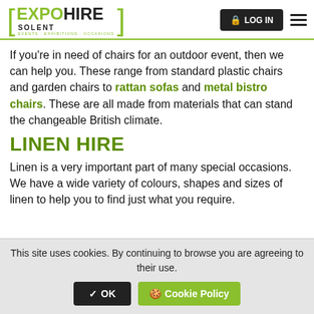[Figure (logo): Expo Hire Solent logo with green brackets, green EXPO text, black HIRE text, SOLENT subtitle, and tagline EVENTS · EXHIBITIONS · OCCASIONS]
If you’re in need of chairs for an outdoor event, then we can help you. These range from standard plastic chairs and garden chairs to rattan sofas and metal bistro chairs. These are all made from materials that can stand the changeable British climate.
LINEN HIRE
Linen is a very important part of many special occasions. We have a wide variety of colours, shapes and sizes of linen to help you to find just what you require.
This site uses cookies. By continuing to browse you are agreeing to their use.